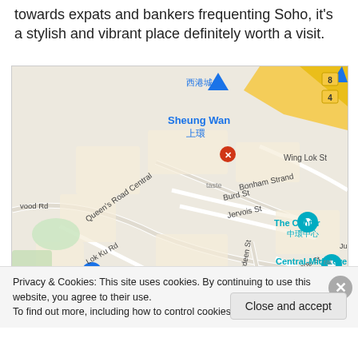towards expats and bankers frequenting Soho, it's a stylish and vibrant place definitely worth a visit.
[Figure (map): Google Maps screenshot showing Sheung Wan / Central area of Hong Kong, with street labels including Queen's Road Central, Bonham Strand, Wing Lok St, Burd St, Jervois St, Bridges St, Aberdeen St, Gage St, Lok Ku Rd, Stanley S., Wellington, and landmarks: The Center (中環中心), Central-Mid-Levels Escalators (中環半山扶手電梯), and a museum marker.]
Privacy & Cookies: This site uses cookies. By continuing to use this website, you agree to their use.
To find out more, including how to control cookies, see here: Cookie Policy